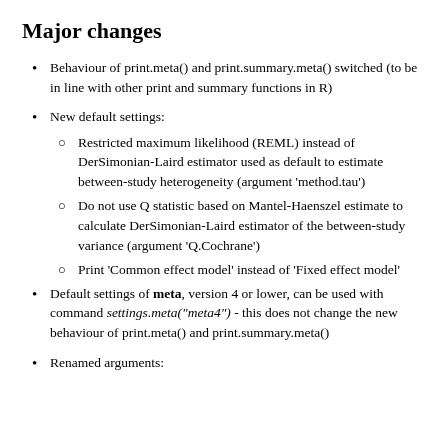Major changes
Behaviour of print.meta() and print.summary.meta() switched (to be in line with other print and summary functions in R)
New default settings:
Restricted maximum likelihood (REML) instead of DerSimonian-Laird estimator used as default to estimate between-study heterogeneity (argument ‘method.tau’)
Do not use Q statistic based on Mantel-Haenszel estimate to calculate DerSimonian-Laird estimator of the between-study variance (argument ‘Q.Cochrane’)
Print ‘Common effect model’ instead of ‘Fixed effect model’
Default settings of meta, version 4 or lower, can be used with command settings.meta(“meta4”) - this does not change the new behaviour of print.meta() and print.summary.meta()
Renamed arguments: